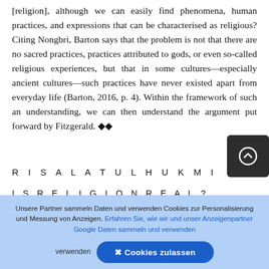[religion], although we can easily find phenomena, human practices, and expressions that can be characterised as religious? Citing Nongbri, Barton says that the problem is not that there are no sacred practices, practices attributed to gods, or even so-called religious experiences, but that in some cultures—especially ancient cultures—such practices have never existed apart from everyday life (Barton, 2016, p. 4). Within the framework of such an understanding, we can then understand the argument put forward by Fitzgerald. ◆◆
RISALATULHUKMI
IS RELIGION REAL?
Unsere Partner sammeln Daten und verwenden Cookies zur Personalisierung und Messung von Anzeigen. Erfahren Sie, wie wir und unser Anzeigenpartner Google Daten sammeln und verwenden